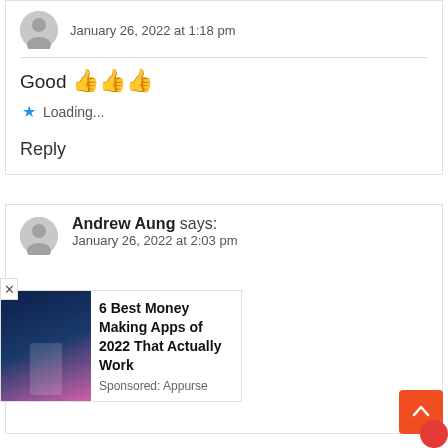January 26, 2022 at 1:18 pm
Good 👍👍👍
Loading...
Reply
Andrew Aung says:
January 26, 2022 at 2:03 pm
[Figure (screenshot): Advertisement: 6 Best Money Making Apps of 2022 That Actually Work - Sponsored: Appurse]
Loading...